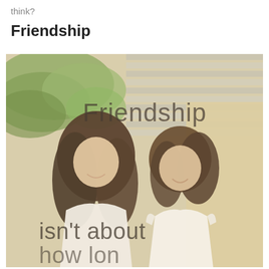think?
Friendship
[Figure (photo): Two young women in white dresses smiling at each other outdoors, with greenery and a striped wall in the background. Overlaid text reads 'Friendship isn't about...']